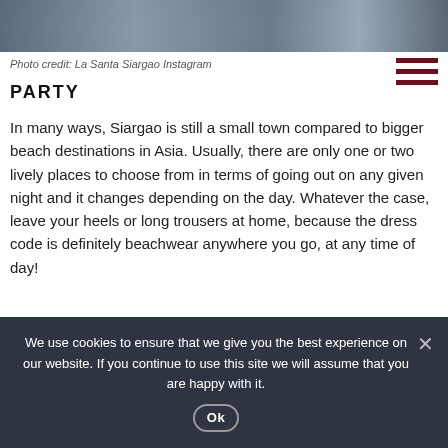[Figure (photo): Partial photo strip of people at a beach/party venue, cropped at top of page]
Photo credit: La Santa Siargao Instagram
PARTY
In many ways, Siargao is still a small town compared to bigger beach destinations in Asia. Usually, there are only one or two lively places to choose from in terms of going out on any given night and it changes depending on the day. Whatever the case, leave your heels or long trousers at home, because the dress code is definitely beachwear anywhere you go, at any time of day!
Barrel Bar and Restaurant is jam packed with residents and tourists joining Quiz Night on Tuesdays for some alcohol-infused trivia fun. For something a little more laid back, head to...
We use cookies to ensure that we give you the best experience on our website. If you continue to use this site we will assume that you are happy with it.